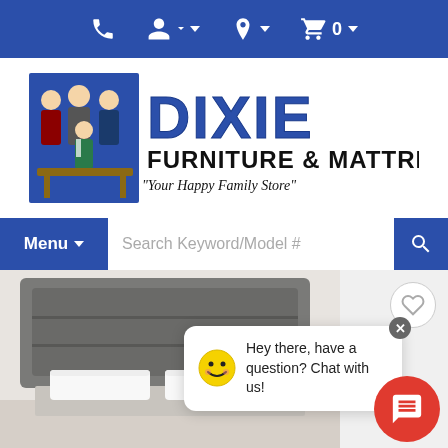Dixie Furniture & Mattress - navigation bar with phone, account, location, and cart icons
[Figure (logo): Dixie Furniture & Mattress logo with cartoon business people and text 'DIXIE FURNITURE & MATTRESS - Your Happy Family Store']
Menu
Search Keyword/Model #
[Figure (photo): Gray upholstered bed headboard with white pillows and mattress, partial product photo]
Hey there, have a question? Chat with us!